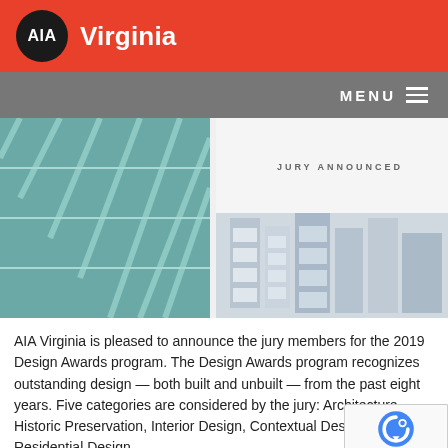AIA Virginia
[Figure (photo): Architectural photograph showing modern glass building facades and angular building structures, with 'JURY ANNOUNCED' text overlay in the center]
AIA Virginia is pleased to announce the jury members for the 2019 Design Awards program. The Design Awards program recognizes outstanding design — both built and unbuilt — from the past eight years. Five categories are considered by the jury: Architecture, Historic Preservation, Interior Design, Contextual Design, and Residential Design.